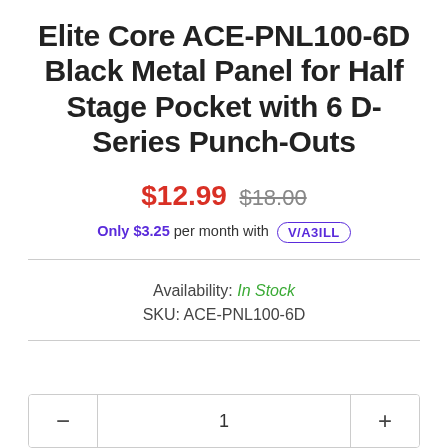Elite Core ACE-PNL100-6D Black Metal Panel for Half Stage Pocket with 6 D-Series Punch-Outs
$12.99 $18.00
Only $3.25 per month with VIABILL
Availability: In Stock
SKU: ACE-PNL100-6D
- 1 +